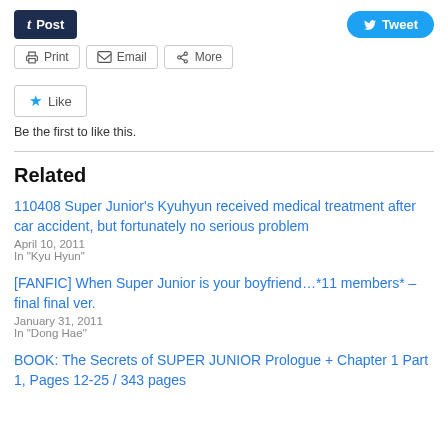[Figure (screenshot): Social sharing buttons row: Tumblr Post button (dark navy) and Twitter Tweet button (blue)]
[Figure (screenshot): Secondary share buttons: Print, Email, More]
[Figure (screenshot): Like button with star icon]
Be the first to like this.
Related
110408 Super Junior's Kyuhyun received medical treatment after car accident, but fortunately no serious problem
April 10, 2011
In "Kyu Hyun"
[FANFIC] When Super Junior is your boyfriend…*11 members* – final final ver.
January 31, 2011
In "Dong Hae"
BOOK: The Secrets of SUPER JUNIOR Prologue + Chapter 1 Part 1, Pages 12-25 / 343 pages